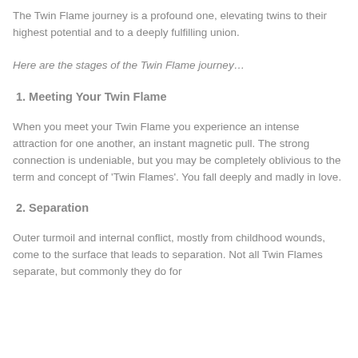The Twin Flame journey is a profound one, elevating twins to their highest potential and to a deeply fulfilling union.
Here are the stages of the Twin Flame journey…
1. Meeting Your Twin Flame
When you meet your Twin Flame you experience an intense attraction for one another, an instant magnetic pull. The strong connection is undeniable, but you may be completely oblivious to the term and concept of 'Twin Flames'. You fall deeply and madly in love.
2. Separation
Outer turmoil and internal conflict, mostly from childhood wounds, come to the surface that leads to separation. Not all Twin Flames separate, but commonly they do for…